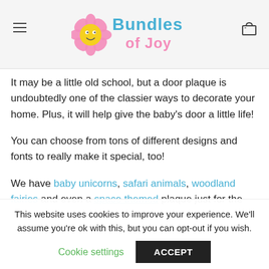Bundles of Joy — navigation header with logo
It may be a little old school, but a door plaque is undoubtedly one of the classier ways to decorate your home. Plus, it will help give the baby's door a little life!
You can choose from tons of different designs and fonts to really make it special, too!
We have baby unicorns, safari animals, woodland fairies and even a space themed plaque just for the
This website uses cookies to improve your experience. We'll assume you're ok with this, but you can opt-out if you wish. Cookie settings  ACCEPT